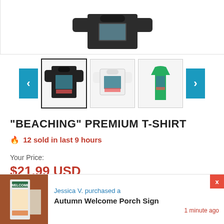[Figure (photo): Top portion of a product image showing a dark/black long-sleeve shirt folded, cropped at bottom of image area]
[Figure (photo): Carousel of three shirt thumbnails: black long-sleeve (selected), white t-shirt, green tank top, with left and right navigation arrows]
"BEACHING" PREMIUM T-SHIRT
🔥 12 sold in last 9 hours
Your Price:
$21.99 USD
[Figure (photo): Notification popup at the bottom showing a porch sign image on the left, text 'Jessica V. purchased a Autumn Welcome Porch Sign' and '1 minute ago', with a red X close button]